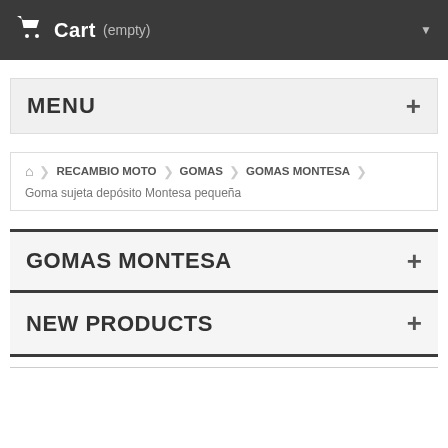Cart (empty)
MENU
🏠 RECAMBIO MOTO › GOMAS › GOMAS MONTESA › Goma sujeta depósito Montesa pequeña
GOMAS MONTESA
NEW PRODUCTS